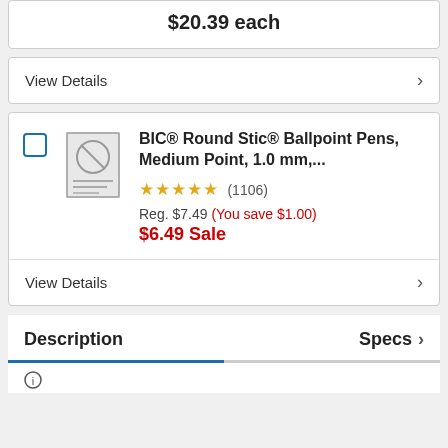$20.39 each
View Details
BIC® Round Stic® Ballpoint Pens, Medium Point, 1.0 mm,...
★★★★★ (1106)
Reg. $7.49 (You save $1.00)
$6.49 Sale
View Details
Description
Specs